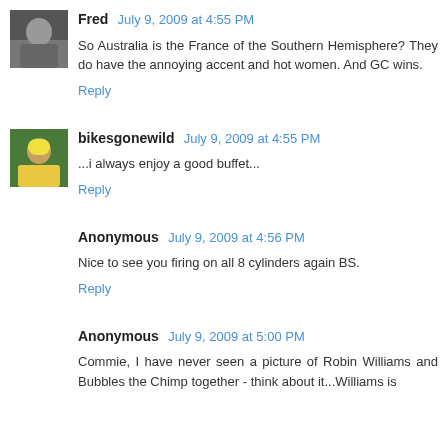Fred July 9, 2009 at 4:55 PM
So Australia is the France of the Southern Hemisphere? They do have the annoying accent and hot women. And GC wins.
Reply
bikesgonewild July 9, 2009 at 4:55 PM
...i always enjoy a good buffet...
Reply
Anonymous July 9, 2009 at 4:56 PM
Nice to see you firing on all 8 cylinders again BS.
Reply
Anonymous July 9, 2009 at 5:00 PM
Commie, I have never seen a picture of Robin Williams and Bubbles the Chimp together - think about it...Williams is